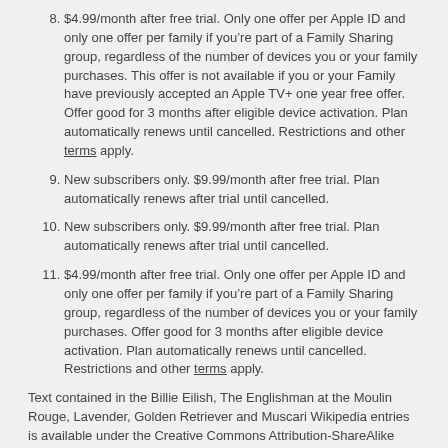8. $4.99/month after free trial. Only one offer per Apple ID and only one offer per family if you’re part of a Family Sharing group, regardless of the number of devices you or your family purchases. This offer is not available if you or your Family have previously accepted an Apple TV+ one year free offer. Offer good for 3 months after eligible device activation. Plan automatically renews until cancelled. Restrictions and other terms apply.
9. New subscribers only. $9.99/month after free trial. Plan automatically renews after trial until cancelled.
10. New subscribers only. $9.99/month after free trial. Plan automatically renews after trial until cancelled.
11. $4.99/month after free trial. Only one offer per Apple ID and only one offer per family if you’re part of a Family Sharing group, regardless of the number of devices you or your family purchases. Offer good for 3 months after eligible device activation. Plan automatically renews until cancelled. Restrictions and other terms apply.
Text contained in the Billie Eilish, The Englishman at the Moulin Rouge, Lavender, Golden Retriever and Muscari Wikipedia entries is available under the Creative Commons Attribution-ShareAlike License at http://creativecommons.org/licenses/by-sa/3.0. Wikipedia® is a registered trademark of the Wikimedia Foundation, Inc., a nonprofit organization.
To access and use all the features of Apple Card, you must add Apple Card to Wallet on an iPhone or iPad with the latest version of iOS or iPadOS. Update to the latest version by going to Settings > General > Software